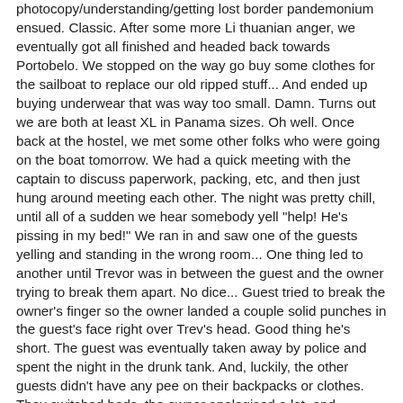photocopy/understanding/getting lost border pandemonium ensued. Classic. After some more Lithuanian anger, we eventually got all finished and headed back towards Portobelo. We stopped on the way go buy some clothes for the sailboat to replace our old ripped stuff... And ended up buying underwear that was way too small. Damn. Turns out we are both at least XL in Panama sizes. Oh well. Once back at the hostel, we met some other folks who were going on the boat tomorrow. We had a quick meeting with the captain to discuss paperwork, packing, etc, and then just hung around meeting each other. The night was pretty chill, until all of a sudden we hear somebody yell "help! He's pissing in my bed!" We ran in and saw one of the guests yelling and standing in the wrong room... One thing led to another until Trevor was in between the guest and the owner trying to break them apart. No dice... Guest tried to break the owner's finger so the owner landed a couple solid punches in the guest's face right over Trev's head. Good thing he's short. The guest was eventually taken away by police and spent the night in the drunk tank. And, luckily, the other guests didn't have any pee on their backpacks or clothes. They switched beds, the owner apologised a lot, and